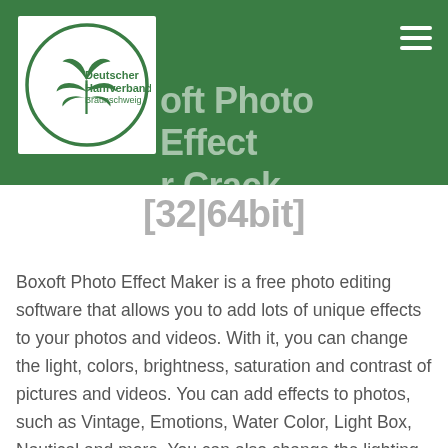[Figure (logo): Deutscher Hanfverband Braunschweig logo — circular green border with stylized cannabis leaf and text]
Boxoft Photo Effect Maker Crack Torrent [32|64bit]
Boxoft Photo Effect Maker is a free photo editing software that allows you to add lots of unique effects to your photos and videos. With it, you can change the light, colors, brightness, saturation and contrast of pictures and videos. You can add effects to photos, such as Vintage, Emotions, Water Color, Light Box, Nautical and more. You can also change the lighting and shadows, add creative filters and edit video. With Boxoft Photo Effect Maker, you can crop photos, add text, masks and clip art. Also, you can adjust the picture,